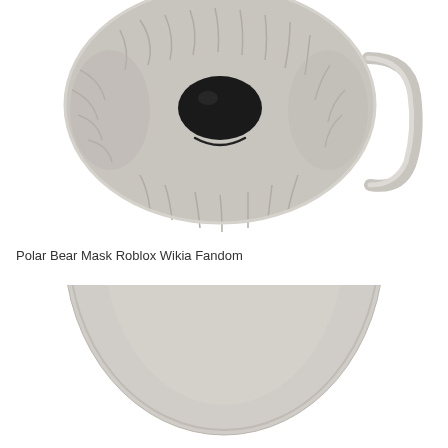[Figure (photo): A polar bear face mask from Roblox, showing a round gray face with a large black nose, textured fur-like surface, and a gray handle/loop on the right side. White background.]
Polar Bear Mask Roblox Wikia Fandom
[Figure (photo): Bottom portion of another polar bear mask from Roblox, showing only the lower curved edge of a round gray mask, partially cropped. White background.]